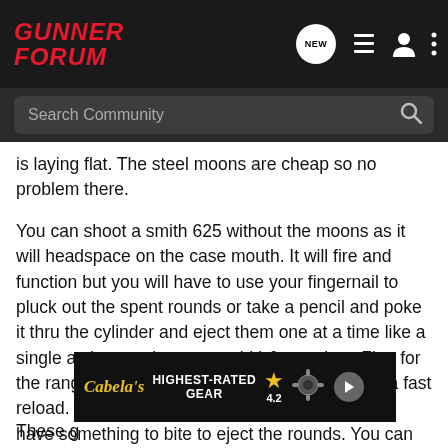GUNNER FORUM
is laying flat. The steel moons are cheap so no problem there.
You can shoot a smith 625 without the moons as it will headspace on the case mouth. It will fire and function but you will have to use your fingernail to pluck out the spent rounds or take a pencil and poke it thru the cylinder and eject them one at a time like a single action revolver or an old h&r revolver. Fine for the range but you lose the tactical advantage of a fast reload. The moon is there for the extractor star to have something to bite to eject the rounds. You can get around this by going to 45 "auto-rim" ammo which is nothing more than a 45acp that has a rim on it like a 38 spl. But you can't use auto-rim in an autoloader.
[Figure (screenshot): Cabela's Highest-Rated Gear advertisement banner with star rating 4.2 and play button]
These g